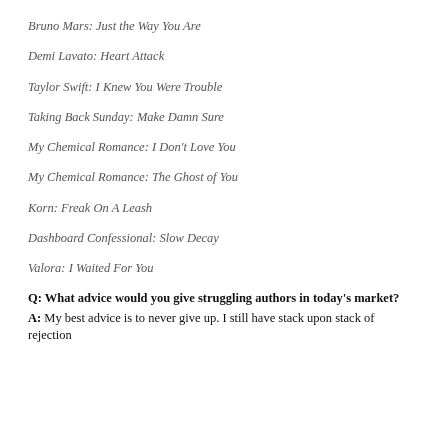Bruno Mars:  Just the Way You Are
Demi Lavato:  Heart Attack
Taylor Swift:  I Knew You Were Trouble
Taking Back Sunday:  Make Damn Sure
My Chemical Romance:  I Don't Love You
My Chemical Romance:  The Ghost of You
Korn:  Freak On A Leash
Dashboard Confessional:  Slow Decay
Valora: I Waited For You
Q:  What advice would you give struggling authors in today's market?
A:  My best advice is to never give up.  I still have stack upon stack of rejection